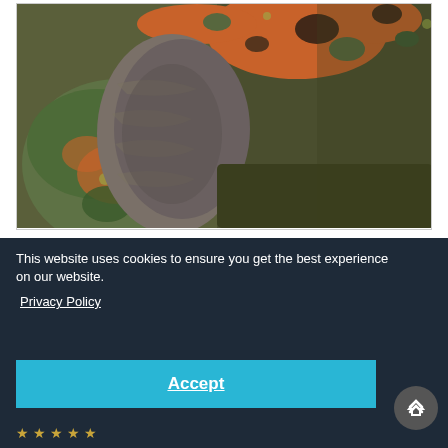[Figure (photo): Close-up product photo of a camouflage military-style winter hat with fur/fleece lining and ear flaps, shown from behind/side angle. The hat features German Flecktarn camouflage pattern in orange, green, olive and dark spots. Sherpa fleece lining visible on inner ear flap.]
[Figure (photo): Partial second product photo of the same camouflage hat visible on the right side, showing the top and strap/buckle detail.]
This website uses cookies to ensure you get the best experience on our website.
Privacy Policy
Accept